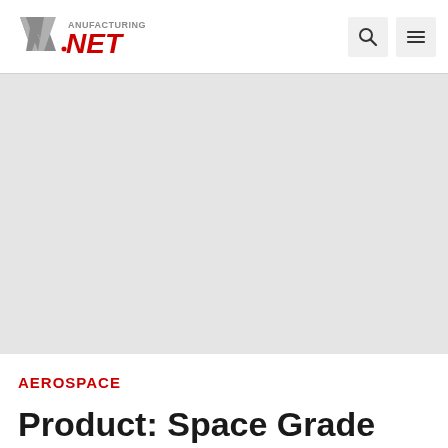Manufacturing.NET
[Figure (photo): Gray placeholder hero image area for article]
AEROSPACE
Product: Space Grade